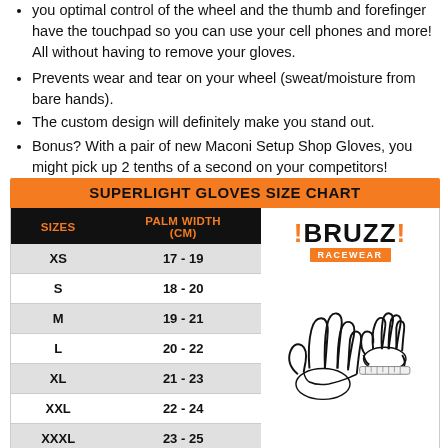you optimal control of the wheel and the thumb and forefinger have the touchpad so you can use your cell phones and more! All without having to remove your gloves.
Prevents wear and tear on your wheel (sweat/moisture from bare hands).
The custom design will definitely make you stand out.
Bonus? With a pair of new Maconi Setup Shop Gloves, you might pick up 2 tenths of a second on your competitors!
| SIZES | PALM WIDTH (CM) |
| --- | --- |
| XS | 17 - 19 |
| S | 18 - 20 |
| M | 19 - 21 |
| L | 20 - 22 |
| XL | 21 - 23 |
| XXL | 22 - 24 |
| XXXL | 23 - 25 |
| XXXXL | 24 - 26 |
[Figure (illustration): Line drawing of two hands showing how to measure palm width with a tape measure, alongside ABRUZZI RACEWEAR logo]